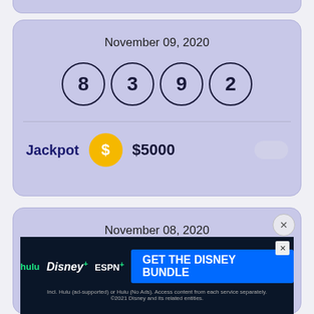November 09, 2020
[Figure (infographic): Lottery card for November 09, 2020 showing four numbered balls: 8, 3, 9, 2 and a Jackpot of $5000]
Jackpot   $5000
November 08, 2020
[Figure (infographic): Advertisement banner: GET THE DISNEY BUNDLE — hulu Disney+ ESPN+. Incl. Hulu (ad-supported) or Hulu (No Ads). Access content from each service separately. ©2021 Disney and its related entities.]